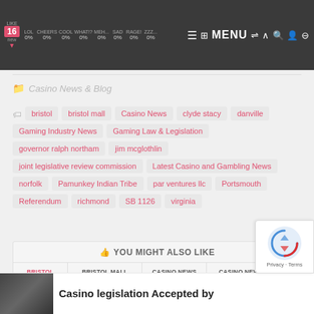LIKE 16 new | LOL 0% | CHEERS 0% | COOL 0% | WHAT!? 0% | MEH... 0% | SAD 0% | RAGE! 0% | ZZZ... 0% | MENU
Casino News & Blog
bristol
bristol mall
Casino News
clyde stacy
danville
Gaming Industry News
Gaming Law & Legislation
governor ralph northam
jim mcglothlin
joint legislative review commission
Latest Casino and Gambling News
norfolk
Pamunkey Indian Tribe
par ventures llc
Portsmouth
Referendum
richmond
SB 1126
virginia
YOU MIGHT ALSO LIKE
BRISTOL | BRISTOL MALL | CASINO NEWS | CASINO NEWS & BLOG
Casino legislation Accepted by